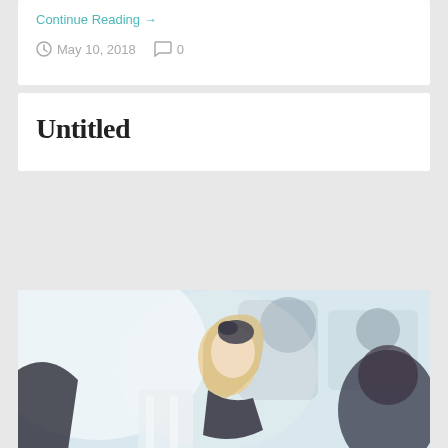Continue Reading →
May 10, 2018   0
Untitled
[Figure (photo): A smiling blonde woman wearing a black floral fascinator headpiece and black dress, seated at what appears to be an event or gala. Other attendees are visible in the blurred background.]